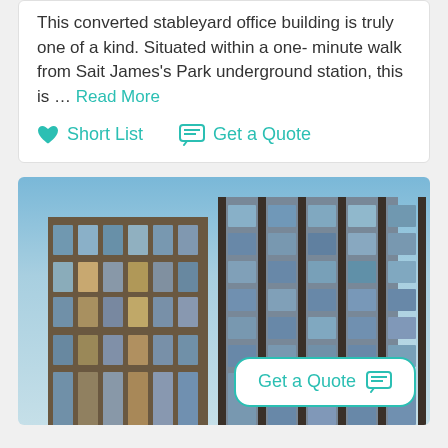This converted stableyard office building is truly one of a kind. Situated within a one-minute walk from Sait James's Park underground station, this is … Read More
Short List   Get a Quote
[Figure (photo): Modern glass and steel office building photographed from a low angle against a blue sky, showing multiple floors with reflective glass panels and bronze/brown structural elements.]
Get a Quote